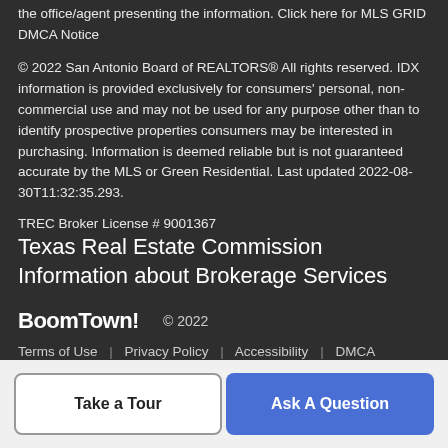the office/agent presenting the information. Click here for MLS GRID DMCA Notice
© 2022 San Antonio Board of REALTORS® All rights reserved. IDX information is provided exclusively for consumers' personal, non-commercial use and may not be used for any purpose other than to identify prospective properties consumers may be interested in purchasing. Information is deemed reliable but is not guaranteed accurate by the MLS or Green Residential. Last updated 2022-08-30T11:32:35.293.
TREC Broker License # 9001367
Texas Real Estate Commission Information about Brokerage Services
BoomTown! © 2022
Terms of Use | Privacy Policy | Accessibility | DMCA
Take a Tour
Ask A Question